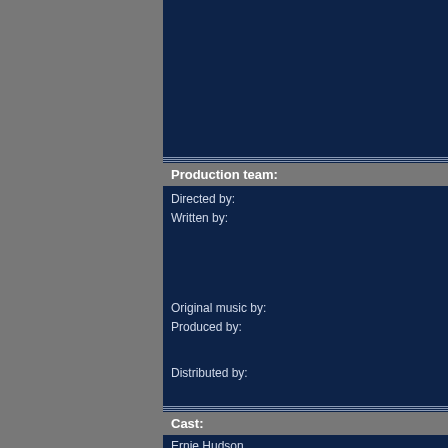[Figure (other): Gray left panel background]
Production team:
Directed by:
Written by:
Original music by:
Produced by:
Distributed by:
Cast:
Ernie Hudson
Michael Ironside